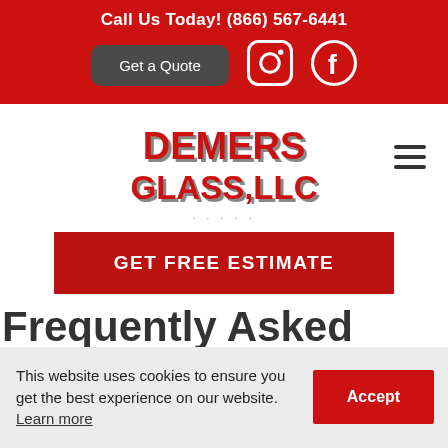Call Us Today! (866) 567-6441
Get a Quote
[Figure (logo): Instagram icon (white on red background)]
[Figure (logo): Facebook icon (white on red background)]
[Figure (logo): Demers Glass LLC logo in red with shadow effect]
[Figure (other): Hamburger menu icon (three horizontal lines)]
GET FREE ESTIMATE
Frequently Asked
This website uses cookies to ensure you get the best experience on our website. Learn more
Accept